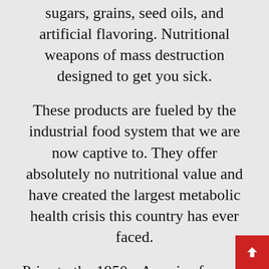sugars, grains, seed oils, and artificial flavoring. Nutritional weapons of mass destruction designed to get you sick.
These products are fueled by the industrial food system that we are now captive to. They offer absolutely no nutritional value and have created the largest metabolic health crisis this country has ever faced.
Prior to the 1950s, America focused